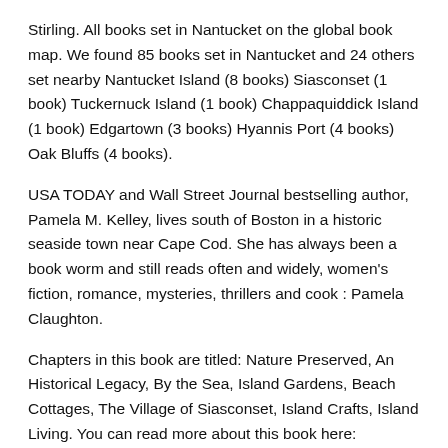Stirling. All books set in Nantucket on the global book map. We found 85 books set in Nantucket and 24 others set nearby Nantucket Island (8 books) Siasconset (1 book) Tuckernuck Island (1 book) Chappaquiddick Island (1 book) Edgartown (3 books) Hyannis Port (4 books) Oak Bluffs (4 books).
USA TODAY and Wall Street Journal bestselling author, Pamela M. Kelley, lives south of Boston in a historic seaside town near Cape Cod. She has always been a book worm and still reads often and widely, women's fiction, romance, mysteries, thrillers and cook : Pamela Claughton.
Chapters in this book are titled: Nature Preserved, An Historical Legacy, By the Sea, Island Gardens, Beach Cottages, The Village of Siasconset, Island Crafts, Island Living. You can read more about this book here: Nantucket Island Living. See all the best parts of the island, including Island Crafts like Nantucket lightship basket.
Cranberry. The Nantucket Inn: Nantucket Beach Plum Cove Series Book 1 is by Pamela Kelley. This book takes place on Nantucket